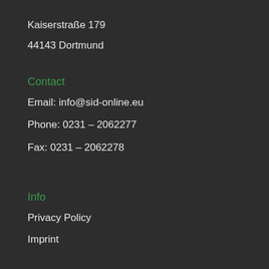Kaiserstraße 179
44143 Dortmund
Contact
Email: info@sid-online.eu
Phone: 0231 – 2062277
Fax: 0231 – 2062278
Info
Privacy Policy
Imprint